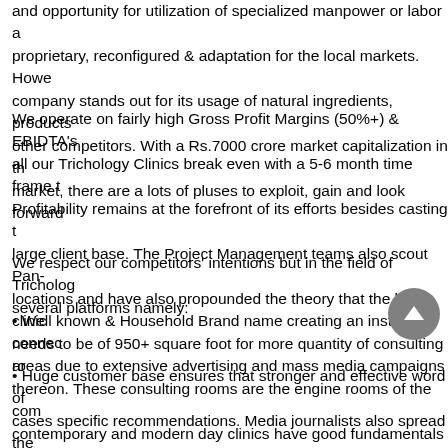and opportunity for utilization of specialized manpower or labor and proprietary, reconfigured & adaptation for the local markets. However, company stands out for its usage of natural ingredients, products and other competitors. With a Rs.7000 crore market capitalization in the market, there are a lots of pluses to exploit, gain and look forward.
We operate on fairly high Gross Profit Margins (50%+) & EBIDTA's all our Trichology Clinics break even with a 5-6 month time frame to Profitability remains at the forefront of its efforts besides casting the large client base. The Project Management teams also scout Pan- locations and have also propounded the theory that the basic clinic needs to be of 950+ square foot for more quantity of consulting rooms thereon. These consulting rooms are the engine rooms of the company contemporary and modern day clinics have good fundamentals in
We respect our competitors' intentions but in the field of Trichology several platforms namely:
• Well known & Household Brand name creating an instant connection areas due to extensive advertising and mass media campaigns
• Huge customer base ensures that stronger and effective word of cases specific recommendations. Media journalists also spread the treatments once they subject themselves to a facial, manicure/pedicure creates hype and aids in brand recall.